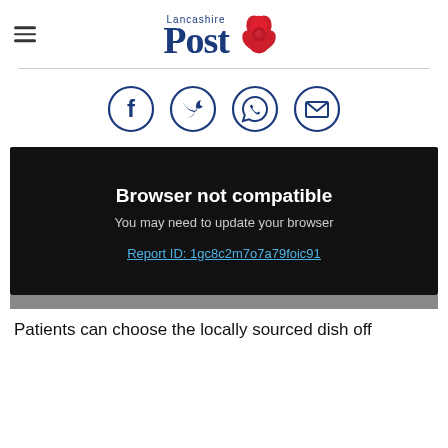[Figure (logo): Lancashire Post logo with red rose and blue text]
[Figure (infographic): Four social sharing icons in circles: Facebook, Twitter, WhatsApp, Email]
[Figure (screenshot): Black video player area showing 'Browser not compatible', 'You may need to update your browser', and a Report ID link]
Patients can choose the locally sourced dish off